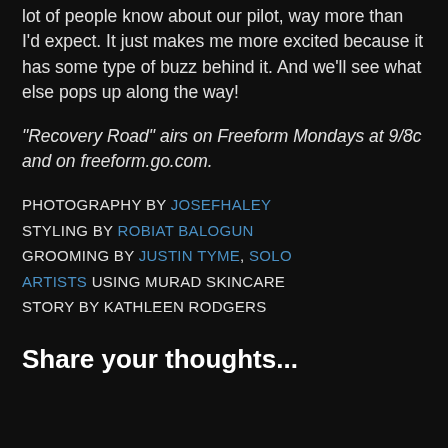lot of people know about our pilot, way more than I'd expect. It just makes me more excited because it has some type of buzz behind it. And we'll see what else pops up along the way!
"Recovery Road" airs on Freeform Mondays at 9/8c and on freeform.go.com.
PHOTOGRAPHY BY JOSEFHALEY STYLING BY ROBIAT BALOGUN GROOMING BY JUSTIN TYME, SOLO ARTISTS USING MURAD SKINCARE STORY BY KATHLEEN RODGERS
Share your thoughts...